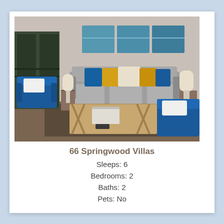[Figure (photo): Interior living room photo showing a gray sofa with blue and yellow/gold throw pillows, two blue accent chairs, a wooden coffee table, two table lamps, and three-panel ocean artwork on the wall above the sofa.]
66 Springwood Villas
Sleeps: 6
Bedrooms: 2
Baths: 2
Pets: No